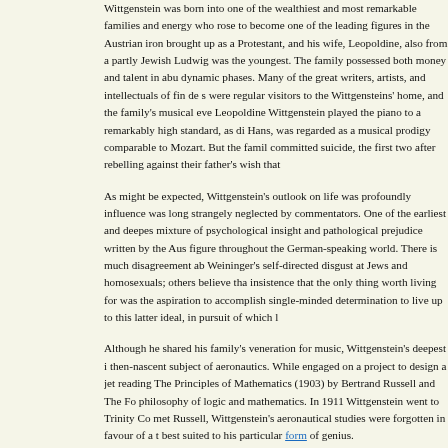Wittgenstein was born into one of the wealthiest and most remarkable families and energy who rose to become one of the leading figures in the Austrian iron brought up as a Protestant, and his wife, Leopoldine, also from a partly Jewish Ludwig was the youngest. The family possessed both money and talent in abu dynamic phases. Many of the great writers, artists, and intellectuals of fin de s were regular visitors to the Wittgensteins' home, and the family's musical eve Leopoldine Wittgenstein played the piano to a remarkably high standard, as di Hans, was regarded as a musical prodigy comparable to Mozart. But the famil committed suicide, the first two after rebelling against their father's wish that
As might be expected, Wittgenstein's outlook on life was profoundly influence was long strangely neglected by commentators. One of the earliest and deepes mixture of psychological insight and pathological prejudice written by the Aus figure throughout the German-speaking world. There is much disagreement ab Weininger's self-directed disgust at Jews and homosexuals; others believe tha insistence that the only thing worth living for was the aspiration to accomplish single-minded determination to live up to this latter ideal, in pursuit of which l
Although he shared his family's veneration for music, Wittgenstein's deepest i then-nascent subject of aeronautics. While engaged on a project to design a jet reading The Principles of Mathematics (1903) by Bertrand Russell and The Fo philosophy of logic and mathematics. In 1911 Wittgenstein went to Trinity Co met Russell, Wittgenstein's aeronautical studies were forgotten in favour of a t best suited to his particular form of genius.
After returning to deal with relatives in order to bring things...